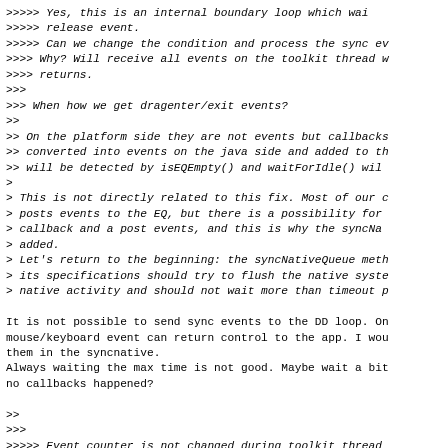>>>>>> Yes, this is an internal boundary loop which wai...
>>>>>> release event.
>>>>> Can we change the condition and process the sync ev...
>>>> Why? Will receive all events on the toolkit thread w...
>>>> returns.
>>>
>>> When how we get dragenter/exit events?
>>
>> On the platform side they are not events but callbacks...
>> converted into events on the java side and added to th...
>> will be detected by isEQEmpty() and waitForIdle() wil...
>
> This is not directly related to this fix. Most of our c...
> posts events to the EQ, but there is a possibility for...
> callback and a post events, and this is why the syncNa...
> added.
> Let's return to the beginning: the syncNativeQueue meth...
> its specifications should try to flush the native syste...
> native activity and should not wait more than timeout p...

It is not possible to send sync events to the DD loop. On...
mouse/keyboard event can return control to the app. I wou...
them in the syncnative.
Always waiting the max time is not good. Maybe wait a bit...
no callbacks happened?

>>
>>>
>>>>>> Event counter is not changed during toolkit thread...
>>>>>> cause. Not sure that we can change that. But since...
>>>>>> blocked we can assume that we are synced.